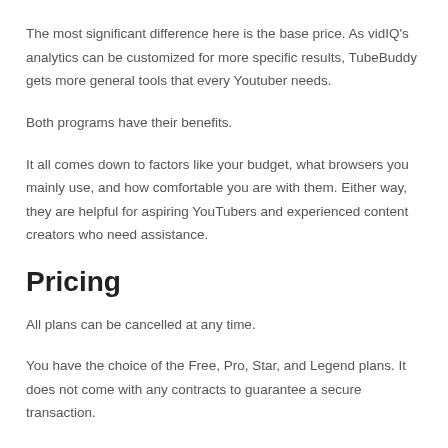The most significant difference here is the base price. As vidIQ's analytics can be customized for more specific results, TubeBuddy gets more general tools that every Youtuber needs.
Both programs have their benefits.
It all comes down to factors like your budget, what browsers you mainly use, and how comfortable you are with them. Either way, they are helpful for aspiring YouTubers and experienced content creators who need assistance.
Pricing
All plans can be cancelled at any time.
You have the choice of the Free, Pro, Star, and Legend plans. It does not come with any contracts to guarantee a secure transaction.